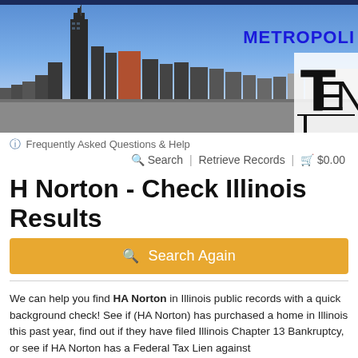[Figure (photo): Chicago skyline header photo with blue sky, skyscrapers including Willis Tower, and a 'METROPOLI' text logo with a stylized TEN logo mark on the right side]
ⓘ Frequently Asked Questions & Help
🔍 Search  |  Retrieve Records  |  🛒 $0.00
H Norton - Check Illinois Results
🔍 Search Again
We can help you find HA Norton in Illinois public records with a quick background check! See if (HA Norton) has purchased a home in Illinois this past year, find out if they have filed Illinois Chapter 13 Bankruptcy, or see if HA Norton has a Federal Tax Lien against